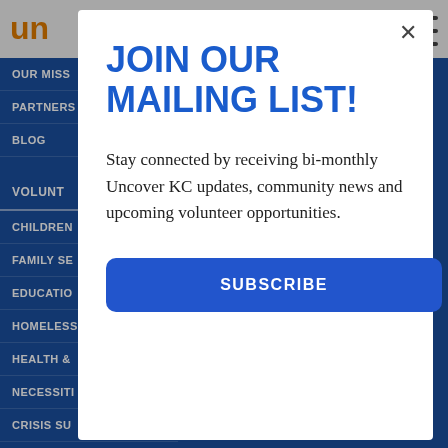un
OUR MISS
PARTNERS
BLOG
VOLUNT
CHILDREN
FAMILY SE
EDUCATIO
HOMELESS
HEALTH &
NECESSITI
CRISIS SU
HUNGER (
DISABILITIES (15)
JOIN OUR MAILING LIST!
Stay connected by receiving bi-monthly Uncover KC updates, community news and upcoming volunteer opportunities.
SUBSCRIBE